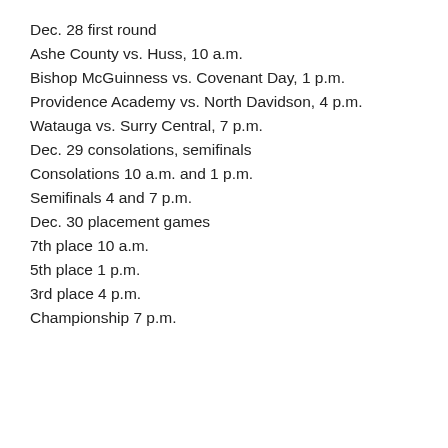Dec. 28 first round
Ashe County vs. Huss, 10 a.m.
Bishop McGuinness vs. Covenant Day, 1 p.m.
Providence Academy vs. North Davidson, 4 p.m.
Watauga vs. Surry Central, 7 p.m.
Dec. 29 consolations, semifinals
Consolations 10 a.m. and 1 p.m.
Semifinals 4 and 7 p.m.
Dec. 30 placement games
7th place 10 a.m.
5th place 1 p.m.
3rd place 4 p.m.
Championship 7 p.m.